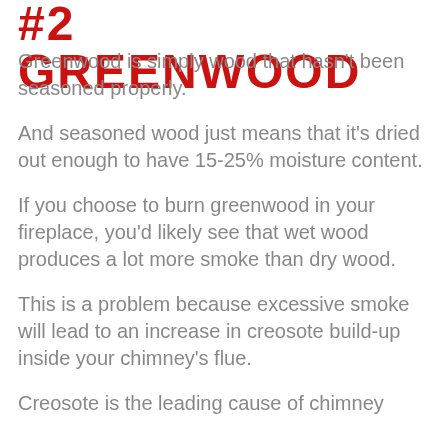#2  GREENWOOD
Greenwood is simply wood that hasn't been seasoned properly.
And seasoned wood just means that it's dried out enough to have 15-25% moisture content.
If you choose to burn greenwood in your fireplace, you'd likely see that wet wood produces a lot more smoke than dry wood.
This is a problem because excessive smoke will lead to an increase in creosote build-up inside your chimney's flue.
Creosote is the leading cause of chimney fires.